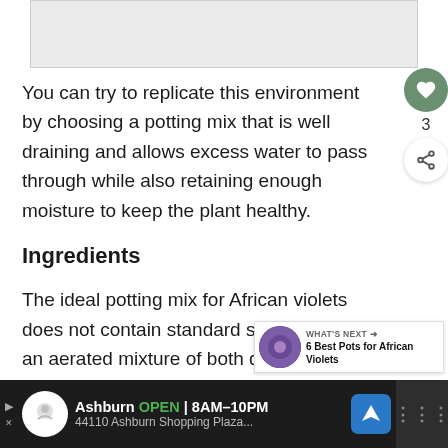[Figure (photo): Top partial image placeholder — cropped photo visible at top of page]
You can try to replicate this environment by choosing a potting mix that is well draining and allows excess water to pass through while also retaining enough moisture to keep the plant healthy.
Ingredients
The ideal potting mix for African violets does not contain standard soil, but rather an aerated mixture of both draining and moisture-retentive ingredients.
[Figure (screenshot): UI overlay with heart/like button (count: 3) and share button on the right side]
[Figure (screenshot): What's Next widget showing '6 Best Pots for African Violets' with circular image]
[Figure (screenshot): Advertisement bar at bottom: Ashburn OPEN 8AM-10PM, 44110 Ashburn Shopping Plaza...]